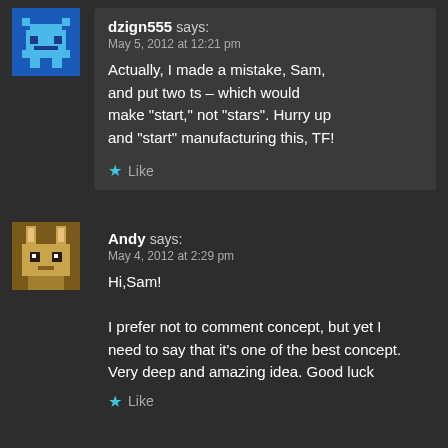dzign555 says: May 5, 2012 at 12:21 pm
Actually, I made a mistake, Sam, and put two ts – which would make "start," not "stars". Hurry up and "start" manufacturing this, TF!
★ Like
Andy says: May 4, 2012 at 2:29 pm
Hi,Sam!
I prefer not to comment concept, but yet I need to say that it's one of the best concept. Very deep and amazing idea. Good luck
★ Like